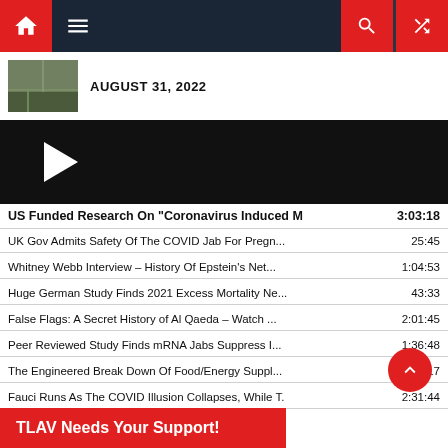Navigation bar with home, menu, search, and shuffle icons
AUGUST 31, 2022
[Figure (screenshot): Video player with dark background and white play button triangle]
US Funded Research On "Coronavirus Induced M... 3:03:18
UK Gov Admits Safety Of The COVID Jab For Pregn... 25:45
Whitney Webb Interview - History Of Epstein's Net... 1:04:53
Huge German Study Finds 2021 Excess Mortality Ne... 43:33
False Flags: A Secret History of Al Qaeda - Watch ... 2:01:45
Peer Reviewed Study Finds mRNA Jabs Suppress I... 1:36:48
The Engineered Break Down Of Food/Energy Suppl... 2:59:17
Fauci Runs As The COVID Illusion Collapses, While T. 2:31:44
Derrick Broze Interview - The Investigation Into Go... 1:29:53
Monica Perez Interview - How The Two Party Parad... 1:22:11
TLAV Needs Your Support!